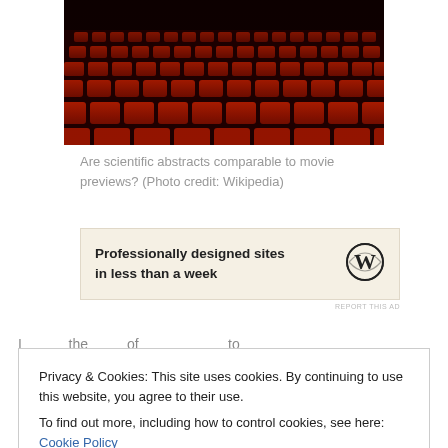[Figure (photo): Red theater seats in an empty auditorium, viewed from an angle.]
Are scientific abstracts comparable to movie previews? (Photo credit: Wikipedia)
[Figure (other): WordPress advertisement banner: 'Professionally designed sites in less than a week' with WordPress logo.]
Privacy & Cookies: This site uses cookies. By continuing to use this website, you agree to their use. To find out more, including how to control cookies, see here: Cookie Policy
in a foreign language. Additionally, your understanding of